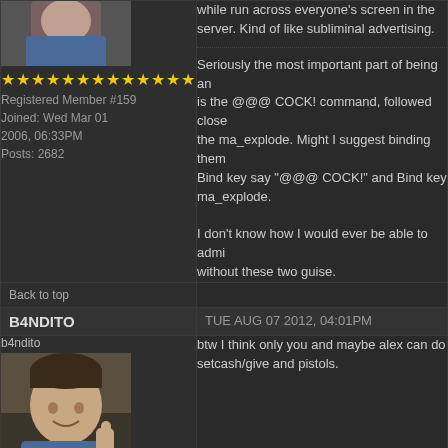while run across everyone's screen in the server. Kind of like subliminal advertising.
Seriously the most important part of being an is the @@@ COCK! command, followed close the ma_explode. Might I suggest binding them Bind key say "@@@ COCK!" and Bind key ma_explode.

I don't know how I would ever be able to admi without these two guise.
Back to top
B4NDITO
TUE AUG 07 2012, 04:01PM
[Figure (photo): User avatar photo of b4ndito showing a smiling man]
b4ndito
Registered Member #958
Joined: Fri Jan 04 2008, 06:59AM
Posts: 3385
btw I think only you and maybe alex can do setcash/give and pistols.
Back to top
ALCOSATZ
TUE AUG 07 2012, 05:10PM